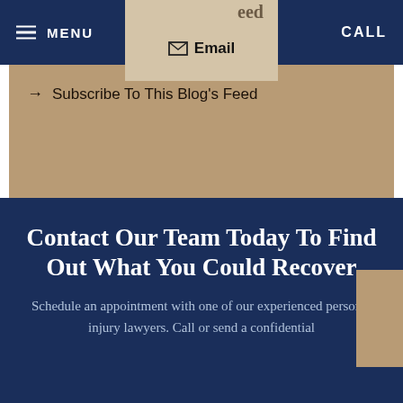MENU | Email | CALL
Subscribe To This Blog's Feed
Contact Our Team Today To Find Out What You Could Recover
Schedule an appointment with one of our experienced personal injury lawyers. Call or send a confidential